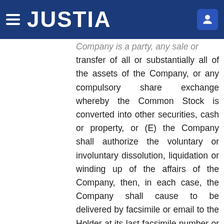JUSTIA
Company is a party, any sale or transfer of all or substantially all of the assets of the Company, or any compulsory share exchange whereby the Common Stock is converted into other securities, cash or property, or (E) the Company shall authorize the voluntary or involuntary dissolution, liquidation or winding up of the affairs of the Company, then, in each case, the Company shall cause to be delivered by facsimile or email to the Holder at its last facsimile number or email address as it shall appear upon the Warrant Register of the Company, at least 20 calendar days prior to the applicable record or